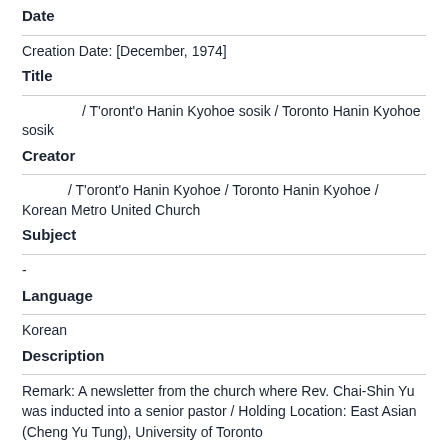Date
Creation Date: [December, 1974]
Title
/ T'oront'o Hanin Kyohoe sosik / Toronto Hanin Kyohoe sosik
Creator
/ T'oront'o Hanin Kyohoe / Toronto Hanin Kyohoe / Korean Metro United Church
Subject
-
Language
Korean
Description
Remark: A newsletter from the church where Rev. Chai-Shin Yu was inducted into a senior pastor / Holding Location: East Asian (Cheng Yu Tung), University of Toronto